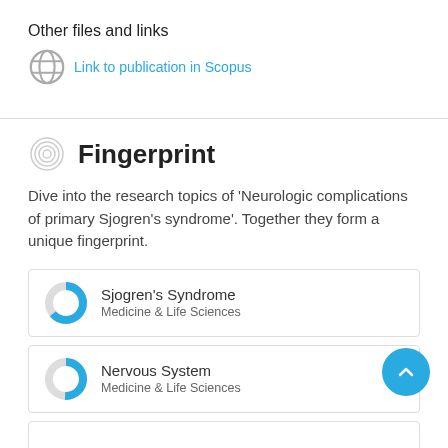Other files and links
Link to publication in Scopus
Fingerprint
Dive into the research topics of 'Neurologic complications of primary Sjogren's syndrome'. Together they form a unique fingerprint.
Sjogren's Syndrome
Medicine & Life Sciences
Nervous System
Medicine & Life Sciences